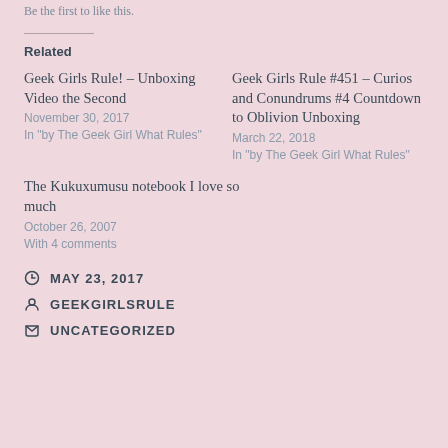Be the first to like this.
Related
Geek Girls Rule! – Unboxing Video the Second
November 30, 2017
In "by The Geek Girl What Rules"
Geek Girls Rule #451 – Curios and Conundrums #4 Countdown to Oblivion Unboxing
March 22, 2018
In "by The Geek Girl What Rules"
The Kukuxumusu notebook I love so much
October 26, 2007
With 4 comments
MAY 23, 2017
GEEKGIRLSRULE
UNCATEGORIZED